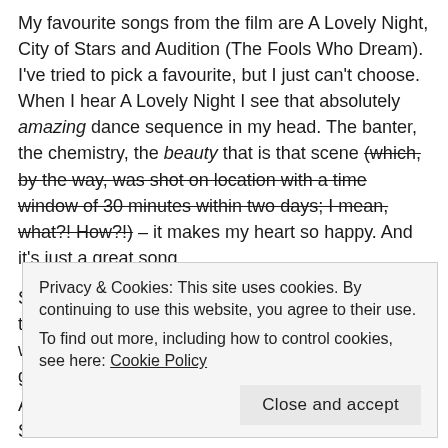My favourite songs from the film are A Lovely Night, City of Stars and Audition (The Fools Who Dream). I've tried to pick a favourite, but I just can't choose. When I hear A Lovely Night I see that absolutely amazing dance sequence in my head. The banter, the chemistry, the beauty that is that scene (which, by the way, was shot on location with a time window of 30 minutes within two days; I mean, what?! How?!) – it makes my heart so happy. And it's just a great song.
Same goes for City of Stars – great song. It tugs on the heart strings, man. I can definitely see why it won an Oscar. Although, personally, I would've gone for Audition, which was...
Privacy & Cookies: This site uses cookies. By continuing to use this website, you agree to their use.
To find out more, including how to control cookies, see here: Cookie Policy
As for the criticism that Ryan Gosling and Emma Stone's